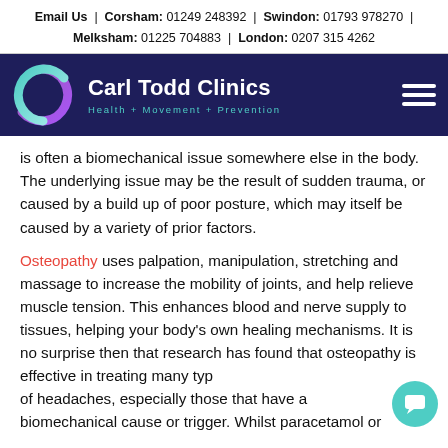Email Us | Corsham: 01249 248392 | Swindon: 01793 978270 | Melksham: 01225 704883 | London: 0207 315 4262
[Figure (logo): Carl Todd Clinics logo on dark navy background with circular purple-teal gradient icon, white text 'Carl Todd Clinics', teal tagline 'Health + Movement + Prevention', and hamburger menu icon on right.]
is often a biomechanical issue somewhere else in the body. The underlying issue may be the result of sudden trauma, or caused by a build up of poor posture, which may itself be caused by a variety of prior factors.
Osteopathy uses palpation, manipulation, stretching and massage to increase the mobility of joints, and help relieve muscle tension. This enhances blood and nerve supply to tissues, helping your body's own healing mechanisms. It is no surprise then that research has found that osteopathy is effective in treating many types of headaches, especially those that have a biomechanical cause or trigger. Whilst paracetamol or